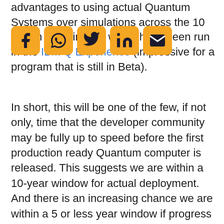advantages to using actual Quantum Systems over simulations across the 10 million experiments which have been run in the IBM Q Experience (impressive for a program that is still in Beta).
[Figure (other): Social media sharing icons: Facebook, WhatsApp, Twitter, LinkedIn, Email]
In short, this will be one of the few, if not only, time that the developer community may be fully up to speed before the first production ready Quantum computer is released. This suggests we are within a 10-year window for actual deployment. And there is an increasing chance we are within a 5 or less year window if progress continues to accelerate in a non-linier fashion.